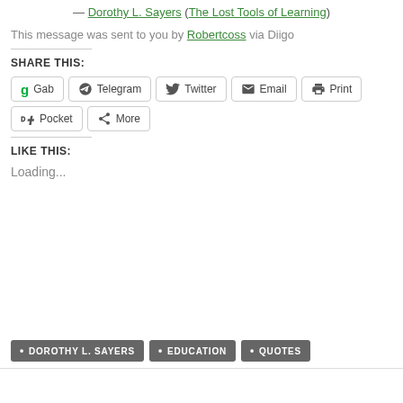— Dorothy L. Sayers (The Lost Tools of Learning)
This message was sent to you by Robertcoss via Diigo
SHARE THIS:
Gab  Telegram  Twitter  Email  Print  Pocket  More
LIKE THIS:
Loading...
DOROTHY L. SAYERS
EDUCATION
QUOTES